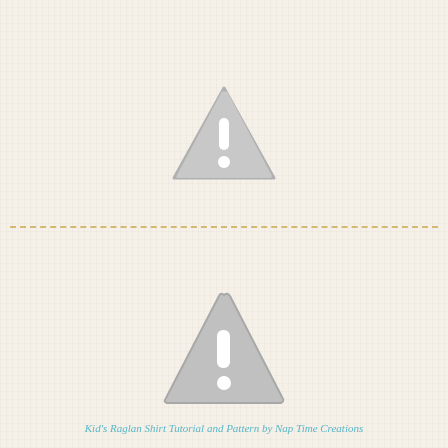[Figure (illustration): Gray warning triangle icon with exclamation mark, rounded corners, positioned in upper half of page]
[Figure (illustration): Gray warning triangle icon with exclamation mark, rounded corners, positioned in lower half of page]
Kid's Raglan Shirt Tutorial and Pattern by Nap Time Creations